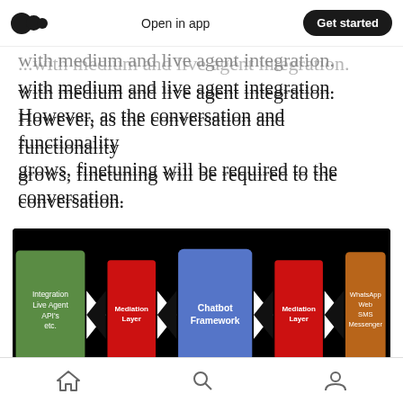Open in app  |  Get started
with medium and live agent integration. However, as the conversation and functionality grows, finetuning will be required to the conversation.
[Figure (flowchart): Architecture diagram on black background showing five blocks connected by arrow connectors: green block labeled 'Integration Live Agent API's etc.', red block labeled 'Mediation Layer', blue block labeled 'Chatbot Framework', red block labeled 'Mediation Layer', orange/brown block labeled 'WhatsApp Web SMS Messenger'. Blocks are connected by bidirectional bow-tie/arrow connectors.]
Mediations layers are custom code which facilitates the